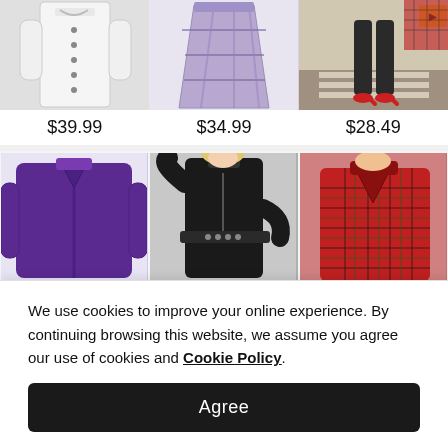[Figure (photo): White button-front shirt dress on gray background]
[Figure (photo): Purple and white plaid/tartan skirt on white background]
[Figure (photo): Person wearing red heels on a crosswalk, street style photo]
$39.99
$34.99
$28.49
[Figure (photo): Purple oversized cardigan/coat on light background]
[Figure (photo): Person wearing black zip-up dress with studded belt]
[Figure (photo): Red and green plaid wool coat on model]
We use cookies to improve your online experience. By continuing browsing this website, we assume you agree our use of cookies and Cookie Policy.
Agree